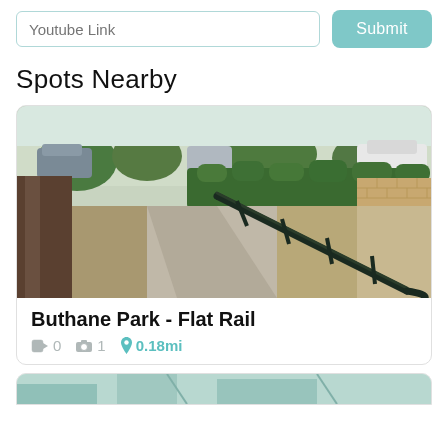Youtube Link
Submit
Spots Nearby
[Figure (photo): Outdoor photo of a flat metal handrail along a concrete path at Buthane Park, with trimmed hedges, dry grass, a tree trunk on the left, a brick wall on the right, and parked cars in the background.]
Buthane Park - Flat Rail
0  1  0.18mi
[Figure (photo): Partial view of another nearby skate spot card at the bottom edge of the page.]